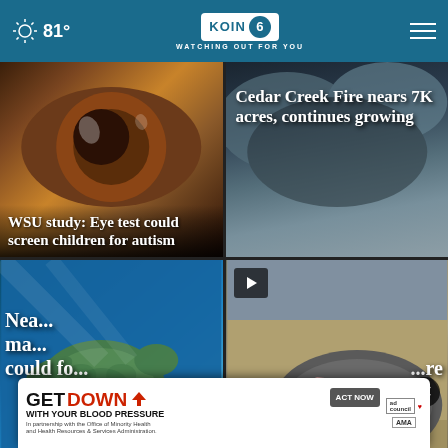81° | KOIN 6 | WATCHING OUT FOR YOU
[Figure (photo): Close-up of a human brown eye with headline overlay: WSU study: Eye test could screen children for autism]
[Figure (photo): Stormy dark clouds with headline overlay: Cedar Creek Fire nears 7K acres, continues growing]
[Figure (photo): Sea turtle swimming underwater in blue water]
[Figure (photo): Injured seal or marine mammal on beach with cuts visible, play button icon overlay]
Nea... ma... could fo...
[Figure (infographic): Advertisement banner: GET DOWN WITH YOUR BLOOD PRESSURE - ACT NOW - In partnership with the Office of Minority Health and Health Resources & Services Administration - ad council, American Heart Association, AMA logos]